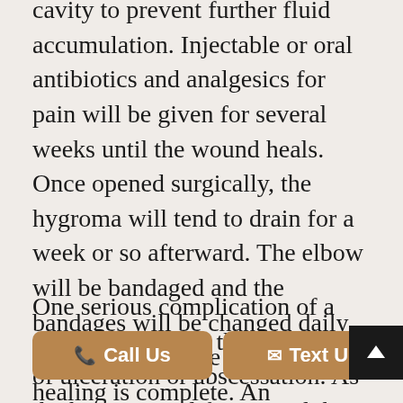cavity to prevent further fluid accumulation. Injectable or oral antibiotics and analgesics for pain will be given for several weeks until the wound heals. Once opened surgically, the hygroma will tend to drain for a week or so afterward. The elbow will be bandaged and the bandages will be changed daily until the drains are removed and healing is complete. An Elizabethan collar must be worn to prevent licking and chewing at the incision.
One serious complication of a septic hygroma is the possibility of ulceration or abscessation. As the bacteria proliferate, and the swelling becomes greater, the skin over the elbow may become devitalized. The tissue may necrose, or die, and slough leaving a draining infected open wound. Treatment [eb ] the devitaliz [itu ] with